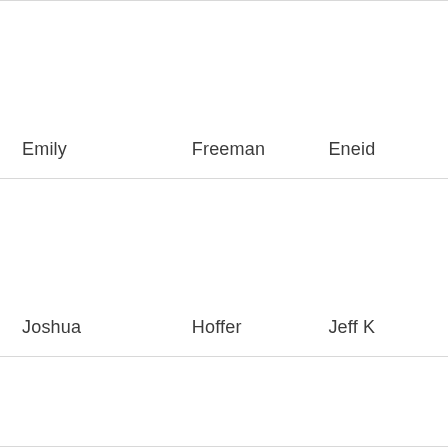| Emily | Freeman | Eneid |
| Joshua | Hoffer | Jeff K |